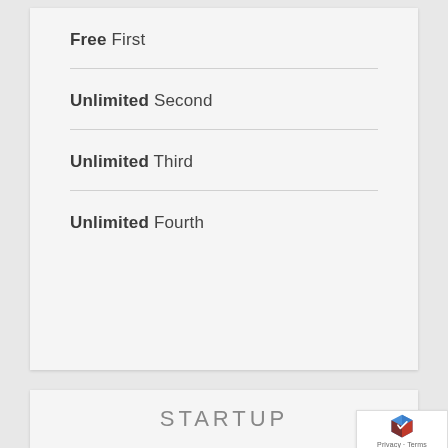Free First
Unlimited Second
Unlimited Third
Unlimited Fourth
STARTUP
[Figure (logo): reCAPTCHA badge with Privacy and Terms text]